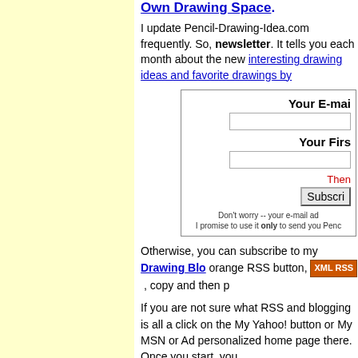Own Drawing Space.
I update Pencil-Drawing-Idea.com frequently. So, newsletter. It tells you each month about the new interesting drawing ideas and favorite drawings by
[Figure (screenshot): Newsletter signup form with fields for 'Your E-mail' and 'Your First', a 'Then' label in red, a Subscribe button, and a privacy note saying 'Don't worry -- your e-mail ad... I promise to use it only to send you Penc...']
Otherwise, you can subscribe to my Drawing Blo orange RSS button, [XML RSS], copy and then p
If you are not sure what RSS and blogging is all a click on the My Yahoo! button or My MSN or Ad personalized home page there. Once you start, you
Please press the 'Back' button on your browser to
Return to Pencil Drawing Idea Home